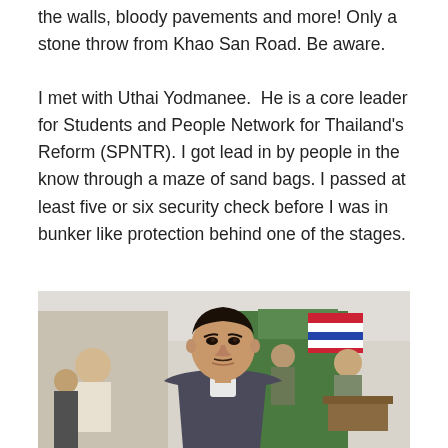the walls, bloody pavements and more! Only a stone throw from Khao San Road. Be aware.
I met with Uthai Yodmanee.  He is a core leader for Students and People Network for Thailand's Reform (SPNTR). I got lead in by people in the know through a maze of sand bags. I passed at least five or six security check before I was in bunker like protection behind one of the stages.
[Figure (photo): A man standing in the foreground looking directly at the camera, wearing a dark grey jacket and white shirt underneath. Behind him is a tent or covered area with green fabric, Thai flags, and several other people seated and standing.]